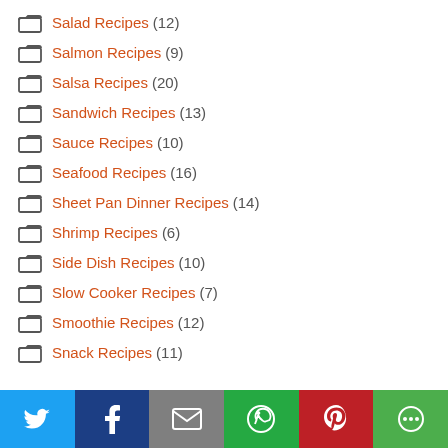Salad Recipes (12)
Salmon Recipes (9)
Salsa Recipes (20)
Sandwich Recipes (13)
Sauce Recipes (10)
Seafood Recipes (16)
Sheet Pan Dinner Recipes (14)
Shrimp Recipes (6)
Side Dish Recipes (10)
Slow Cooker Recipes (7)
Smoothie Recipes (12)
Snack Recipes (11)
[Figure (infographic): Social sharing bar with Twitter, Facebook, Email, WhatsApp, Pinterest, and More buttons]